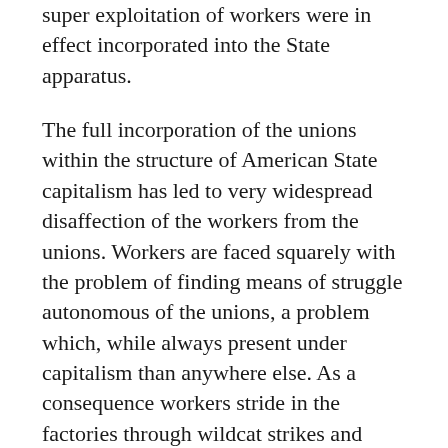super exploitation of workers were in effect incorporated into the State apparatus.
The full incorporation of the unions within the structure of American State capitalism has led to very widespread disaffection of the workers from the unions. Workers are faced squarely with the problem of finding means of struggle autonomous of the unions, a problem which, while always present under capitalism than anywhere else. As a consequence workers stride in the factories through wildcat strikes and sporadic independent organizations. Outside the factory only young workers and black workers find any consistent radical social-political expression, and even the struggles of blacks and youths are at best weakly linked to the struggles in the factory.